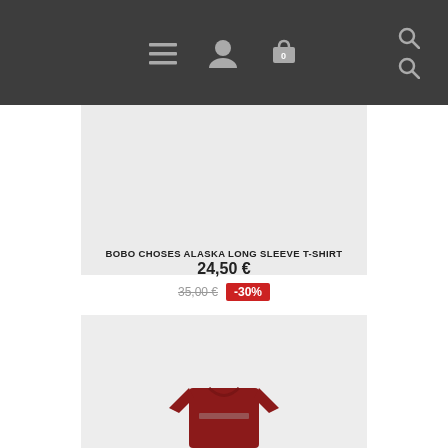Navigation bar with menu, account, cart, and search icons
[Figure (photo): Product image placeholder - light grey rectangle (top portion of product card)]
BOBO CHOSES ALASKA LONG SLEEVE T-SHIRT
24,50 €
35,00 € -30%
[Figure (photo): Product image showing a dark red/burgundy long sleeve t-shirt from Bobo Choses, folded, on a light grey background]